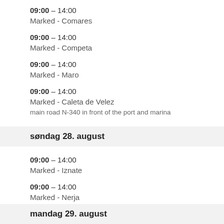09:00 – 14:00
Marked - Comares
09:00 – 14:00
Marked - Competa
09:00 – 14:00
Marked - Maro
09:00 – 14:00
Marked - Caleta de Velez
main road N-340 in front of the port and marina
søndag 28. august
09:00 – 14:00
Marked - Iznate
09:00 – 14:00
Marked - Nerja
mandag 29. august